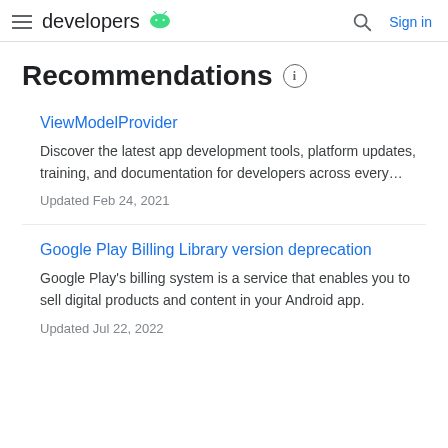developers [android logo] | Search | Sign in
Recommendations
ViewModelProvider
Discover the latest app development tools, platform updates, training, and documentation for developers across every…
Updated Feb 24, 2021
Google Play Billing Library version deprecation
Google Play's billing system is a service that enables you to sell digital products and content in your Android app.
Updated Jul 22, 2022